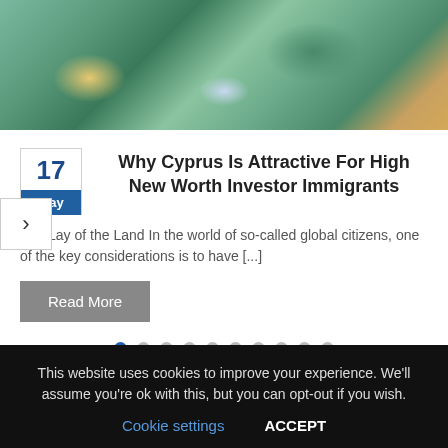[Figure (photo): Aerial view of a coastal area with colorful trees, parked cars, and boats near a harbor, likely Cyprus]
Why Cyprus Is Attractive For High New Worth Investor Immigrants
The Lay of the Land In the world of so-called global citizens, one of the key considerations is to have [...]
Read More
This website uses cookies to improve your experience. We'll assume you're ok with this, but you can opt-out if you wish.
Cookie settings   ACCEPT